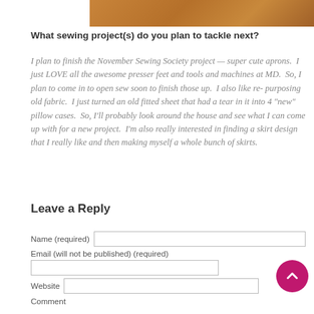[Figure (photo): Partial view of a brown/tan textured surface, possibly leather or fabric, cropped at the top of the page.]
What sewing project(s) do you plan to tackle next?
I plan to finish the November Sewing Society project — super cute aprons.  I just LOVE all the awesome presser feet and tools and machines at MD.  So, I plan to come in to open sew soon to finish those up.  I also like re-purposing old fabric.  I just turned an old fitted sheet that had a tear in it into 4 "new" pillow cases.  So, I'll probably look around the house and see what I can come up with for a new project.  I'm also really interested in finding a skirt design that I really like and then making myself a whole bunch of skirts.
Leave a Reply
Name (required)
Email (will not be published) (required)
Website
Comment